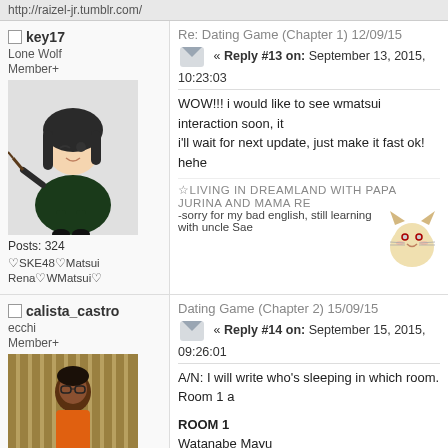http://raizel-jr.tumblr.com/
key17
Lone Wolf
Member+
Posts: 324
♡SKE48♡Matsui Rena♡WMatsui♡
Re: Dating Game (Chapter 1) 12/09/15
« Reply #13 on: September 13, 2015, 10:23:03
WOW!!! i would like to see wmatsui interaction soon, it
i'll wait for next update, just make it fast ok! hehe
☆LIVING IN DREAMLAND WITH PAPA JURINA AND MAMA RE
-sorry for my bad english, still learning with uncle Sae
calista_castro
ecchi
Member+
Dating Game (Chapter 2) 15/09/15
« Reply #14 on: September 15, 2015, 09:26:01
A/N: I will write who's sleeping in which room. Room 1 a
ROOM 1
Watanabe Mayu